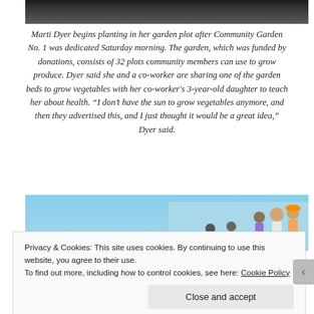[Figure (photo): Top portion of a photo showing dark soil with a plant being planted in a garden bed]
Marti Dyer begins planting in her garden plot after Community Garden No. 1 was dedicated Saturday morning. The garden, which was funded by donations, consists of 32 plots community members can use to grow produce. Dyer said she and a co-worker are sharing one of the garden beds to grow vegetables with her co-worker's 3-year-old daughter to teach her about health. “I don’t have the sun to grow vegetables anymore, and then they advertised this, and I just thought it would be a great idea,” Dyer said.
[Figure (photo): Bottom portion of a photo showing people gathered outdoors under a blue sky]
Privacy & Cookies: This site uses cookies. By continuing to use this website, you agree to their use.
To find out more, including how to control cookies, see here: Cookie Policy
Close and accept